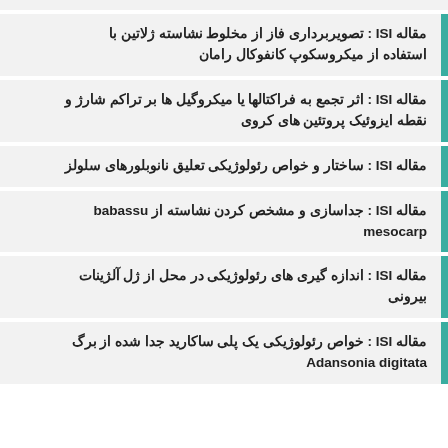مقاله ISI : تصویربرداری فاز از مخلوط نشاسته ژلاتین با استفاده از میکروسکوپ کانفوکال رامان
مقاله ISI : اثر تجمع به فراکتالها یا میکروگیل ها بر تراکم شارژ و نقطه ایزوئیک پروتئین های کروی
مقاله ISI : ساختار و خواص رئولوژیکی تعلیق نانوبلورهای سلولز
مقاله ISI : جداسازی و مشخص کردن نشاسته از babassu mesocarp
مقاله ISI : اندازه گیری های رئولوژیکی در محل از ژل آلژینات بیرونی
مقاله ISI : خواص رئولوژیکی یک پلی ساکارید جدا شده از برگ Adansonia digitata